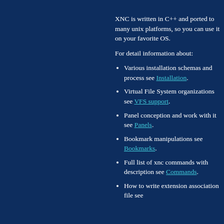XNC is written in C++ and ported to many unix platforms, so you can use it on your favorite OS.
For detail information about:
Various installation schemas and process see Installation.
Virtual File System organizations see VFS support.
Panel conception and work with it see Panels.
Bookmark manipulations see Bookmarks.
Full list of xnc commands with description see Commands.
How to write extension association file see